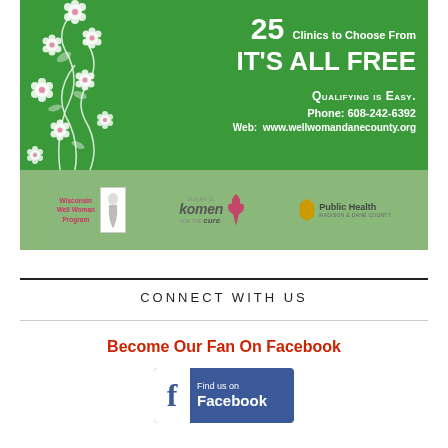[Figure (infographic): Green advertisement banner for Well Woman program. Top green section with white flower illustrations on the left and text on the right: '25 Clinics to Choose From IT'S ALL FREE QUALIFYING IS EASY. Phone: 608-242-6392 Web: www.wellwomandanecounty.org'. Bottom lighter green section with three logos: Wisconsin Well Woman Program, Susan G. Komen for the Cure, Public Health Madison & Dane County.]
CONNECT WITH US
Become Our Fan On Facebook
[Figure (infographic): Facebook 'Find us on Facebook' button/badge with blue Facebook logo icon on the left and 'Find us on Facebook' text on the right.]